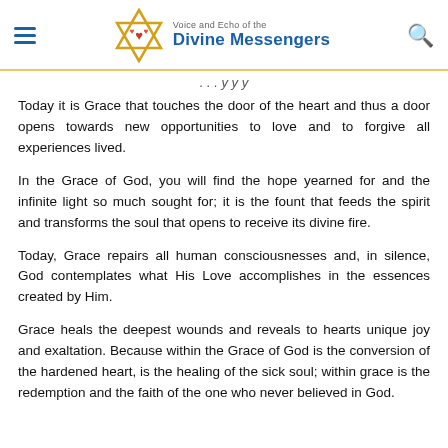Voice and Echo of the Divine Messengers
Today it is Grace that touches the door of the heart and thus a door opens towards new opportunities to love and to forgive all experiences lived.
In the Grace of God, you will find the hope yearned for and the infinite light so much sought for; it is the fount that feeds the spirit and transforms the soul that opens to receive its divine fire.
Today, Grace repairs all human consciousnesses and, in silence, God contemplates what His Love accomplishes in the essences created by Him.
Grace heals the deepest wounds and reveals to hearts unique joy and exaltation. Because within the Grace of God is the conversion of the hardened heart, is the healing of the sick soul; within grace is the redemption and the faith of the one who never believed in God.